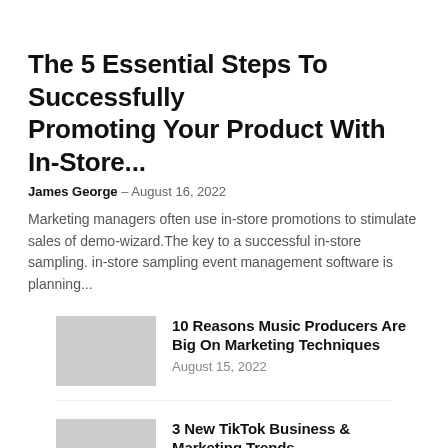The 5 Essential Steps To Successfully Promoting Your Product With In-Store...
James George – August 16, 2022
Marketing managers often use in-store promotions to stimulate sales of demo-wizard.The key to a successful in-store sampling. in-store sampling event management software is planning...
10 Reasons Music Producers Are Big On Marketing Techniques
August 15, 2022
3 New TikTok Business & Marketing Trends
August 11, 2022